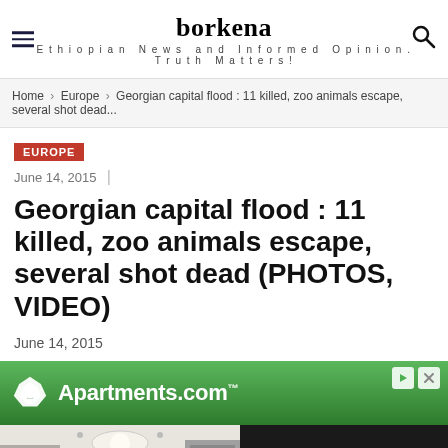borkena — Ethiopian News and Informed Opinion. Truth Matters!
Home › Europe › Georgian capital flood : 11 killed, zoo animals escape, several shot dead...
EUROPE
June 14, 2015
Georgian capital flood : 11 killed, zoo animals escape, several shot dead (PHOTOS, VIDEO)
June 14, 2015
[Figure (screenshot): Apartments.com advertisement banner with green gradient background and logo]
[Figure (photo): Kitchen interior photo on the left; dark right panel with text 'Halston Shiloh Valley']